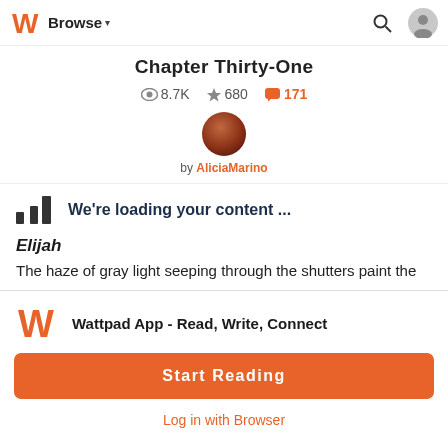Browse
Chapter Thirty-One
8.7K views · 680 stars · 171 comments
by AliciaMarino
We're loading your content ...
Elijah
The haze of gray light seeping through the shutters paint the
Wattpad App - Read, Write, Connect
Start Reading
Log in with Browser